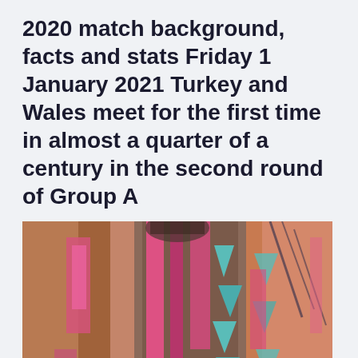2020 match background, facts and stats Friday 1 January 2021 Turkey and Wales meet for the first time in almost a quarter of a century in the second round of Group A
[Figure (photo): Close-up photo of a person wearing a colorful patterned wool/knit poncho or blanket wrap with vibrant pink, teal, blue, and orange geometric/aztec patterns, with fringed edges visible at the bottom.]